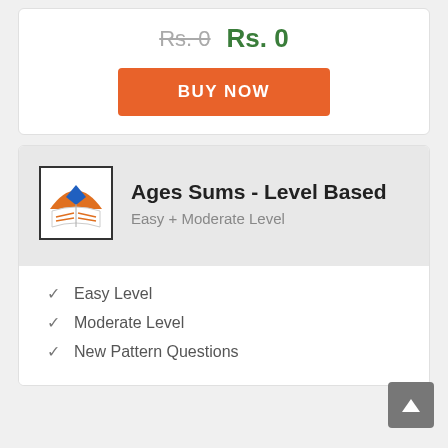Rs. 0  Rs. 0
BUY NOW
Ages Sums - Level Based
Easy + Moderate Level
Easy Level
Moderate Level
New Pattern Questions